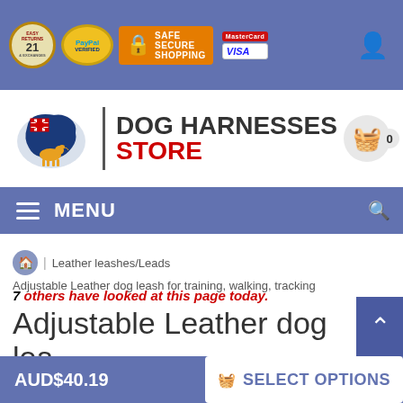[Figure (screenshot): Top blue banner with trust badges: Easy Returns & Exchanges circular badge, PayPal Verified circular badge, Safe Secure Shopping orange badge with lock icon, MasterCard and VISA card logos, and user account icon]
[Figure (logo): Dog Harnesses Store logo with Australian map and dog silhouette illustration]
[Figure (screenshot): Blue navigation menu bar with hamburger menu icon and MENU text, search icon on right]
Leather leashes/Leads
Adjustable Leather dog leash for training, walking, tracking
7 others have looked at this page today.
Adjustable Leather dog leash for training, walking, tracking
AUD$40.19
SELECT OPTIONS